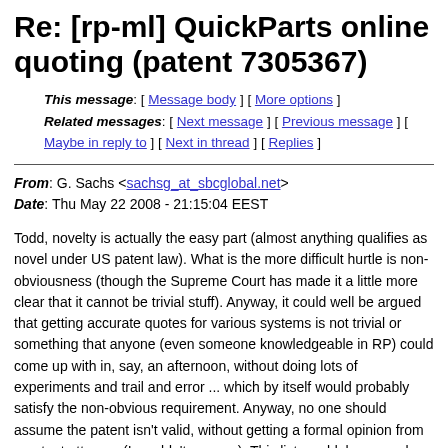Re: [rp-ml] QuickParts online quoting (patent 7305367)
This message: [ Message body ] [ More options ]
Related messages: [ Next message ] [ Previous message ] [ Maybe in reply to ] [ Next in thread ] [ Replies ]
From: G. Sachs <sachsg_at_sbcglobal.net>
Date: Thu May 22 2008 - 21:15:04 EEST
Todd, novelty is actually the easy part (almost anything qualifies as novel under US patent law). What is the more difficult hurtle is non-obviousness (though the Supreme Court has made it a little more clear that it cannot be trivial stuff). Anyway, it could well be argued that getting accurate quotes for various systems is not trivial or something that anyone (even someone knowledgeable in RP) could come up with in, say, an afternoon, without doing lots of experiments and trail and error ... which by itself would probably satisfy the non-obvious requirement. Anyway, no one should assume the patent isn't valid, without getting a formal opinion from a patent attorney (I wouldn't anyway). This list would, however, be a good resource for uncovering any "detailed" discussions of this